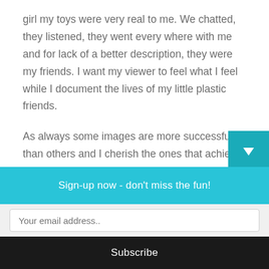girl my toys were very real to me. We chatted, they listened, they went every where with me and for lack of a better description, they were my friends. I want my viewer to feel what I feel while I document the lives of my little plastic friends.
As always some images are more successful than others and I cherish the ones that achieve that emotional element. I think I would be happy if I could crack the code and help people see how alive my little plastic friends are to me. Until I do, I will keep taking photos and hope people will connec
Sign-up now - don't miss the fun!
Your email address..
Subscribe